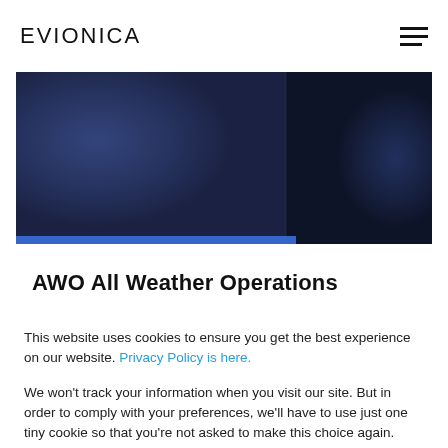EVIONICA
[Figure (photo): Dark blue hero banner image with a blue horizontal bar accent at the bottom left]
AWO All Weather Operations
This website uses cookies to ensure you get the best experience on our website. Privacy Policy is here.
We won't track your information when you visit our site. But in order to comply with your preferences, we'll have to use just one tiny cookie so that you're not asked to make this choice again.